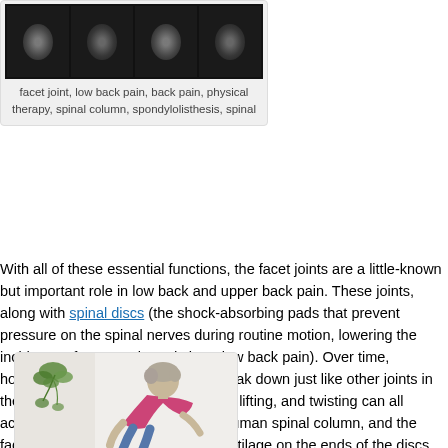[Figure (photo): X-ray images of spinal facet joints shown in a dark image strip with multiple panels]
facet joint, low back pain, back pain, physical therapy, spinal column, spondylolisthesis, spinal
With all of these essential functions, the facet joints are a little-known but important role in low back and upper back pain. These joints, along with spinal discs (the shock-absorbing pads that prevent pressure on the spinal nerves during routine motion, lowering the incidence of nerve pain and sharp low back pain). Over time, however, the facet joints begin to break down just like other joints in the human body. Repetitive bending, lifting, and twisting can all accelerate the natural aging of the human spinal column, and the facet joints are no exception. The cartilage on the ends of the discs become thinner, harder, and less capable of bearing shock as we grow older. As a result, compressed (pinched) spinal nerves, which in turn can cause muscle weakness, numbness, pain, and decreases in overall mobility.
[Figure (photo): Older woman in pink shirt bending over in pain, with a hanging plant visible in the background]